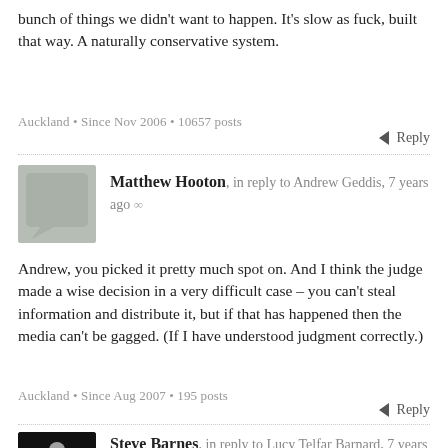bunch of things we didn't want to happen. It's slow as fuck, built that way. A naturally conservative system.
Auckland • Since Nov 2006 • 10657 posts
Reply
Matthew Hooton, in reply to Andrew Geddis, 7 years ago ∞
Andrew, you picked it pretty much spot on. And I think the judge made a wise decision in a very difficult case – you can't steal information and distribute it, but if that has happened then the media can't be gagged. (If I have understood judgment correctly.)
Auckland • Since Aug 2007 • 195 posts
Reply
Steve Barnes, in reply to Lucy Telfar Barnard, 7 years ago ∞